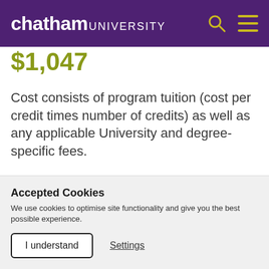chatham UNIVERSITY
$1,047
Cost consists of program tuition (cost per credit times number of credits) as well as any applicable University and degree-specific fees.
EDUCATIONAL GUIDANCE
Accepted Cookies
We use cookies to optimise site functionality and give you the best possible experience.
I understand   Settings